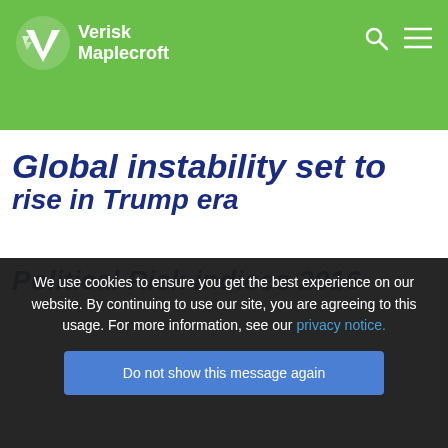Verisk Maplecroft
Global instability set to rise in Trump era
We use cookies to ensure you get the best experience on our website. By continuing to use our site, you are agreeing to this usage. For more information, see our privacy notice.
Do not show this message again